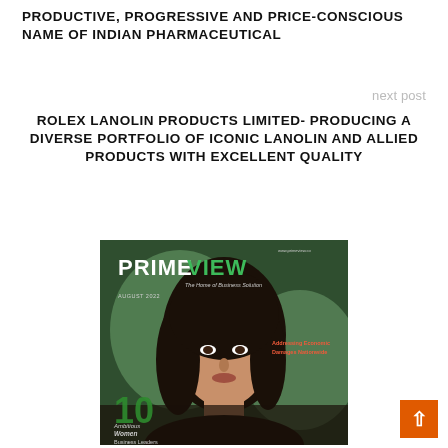PRODUCTIVE, PROGRESSIVE AND PRICE-CONSCIOUS NAME OF INDIAN PHARMACEUTICAL
next post
ROLEX LANOLIN PRODUCTS LIMITED- PRODUCING A DIVERSE PORTFOLIO OF ICONIC LANOLIN AND ALLIED PRODUCTS WITH EXCELLENT QUALITY
[Figure (photo): Cover of Prime View magazine, August 2022, featuring a woman with dark hair. Text on cover reads: PRIMEVIEW, The Home of Business Solution, Addressing Economic Damages Nationwide, 10 Ambitious Women Business Leaders]